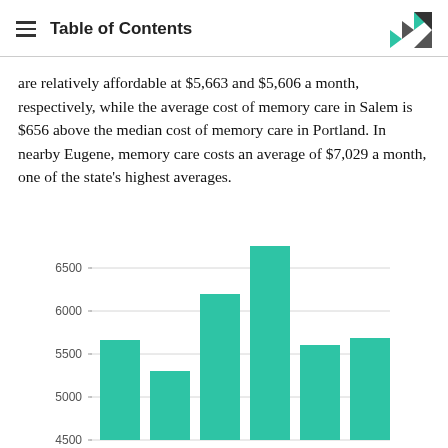Table of Contents
are relatively affordable at $5,663 and $5,606 a month, respectively, while the average cost of memory care in Salem is $656 above the median cost of memory care in Portland. In nearby Eugene, memory care costs an average of $7,029 a month, one of the state's highest averages.
[Figure (bar-chart): Memory Care Costs by City]